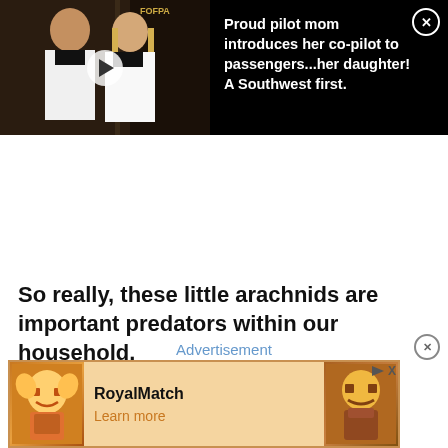[Figure (screenshot): Video thumbnail showing two women in pilot uniforms (a mother and daughter) standing at an airplane door. A white play button is overlaid on the left image half. The right side shows text on black background: 'Proud pilot mom introduces her co-pilot to passengers...her daughter! A Southwest first.' with a close (X) button in the top right corner.]
So really, these little arachnids are important predators within our household.
Advertisement
[Figure (screenshot): Advertisement banner for RoyalMatch mobile game. Orange/tan background with game character icons on left and right sides. Center text reads 'RoyalMatch' in bold with 'Learn more' link in orange below. Small play and X controls in upper right of the ad area.]